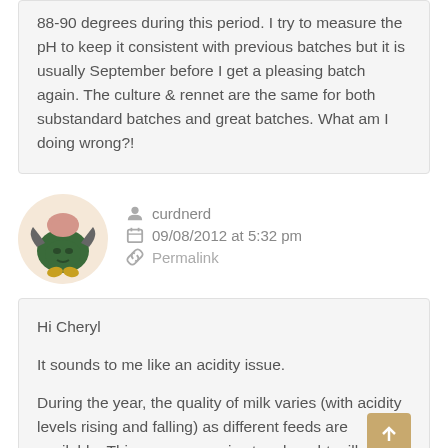88-90 degrees during this period. I try to measure the pH to keep it consistent with previous batches but it is usually September before I get a pleasing batch again. The culture & rennet are the same for both substandard batches and great batches. What am I doing wrong?!
curdnerd
09/08/2012 at 5:32 pm
Permalink
Hi Cheryl

It sounds to me like an acidity issue.

During the year, the quality of milk varies (with acidity levels rising and falling) as different feeds are available. This occurs even in store bought milk, as